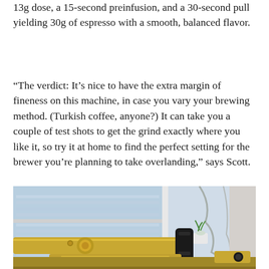13g dose, a 15-second preinfusion, and a 30-second pull yielding 30g of espresso with a smooth, balanced flavor.
“The verdict: It’s nice to have the extra margin of fineness on this machine, in case you vary your brewing method. (Turkish coffee, anyone?) It can take you a couple of test shots to get the grind exactly where you like it, so try it at home to find the perfect setting for the brewer you’re planning to take overlanding,” says Scott.
[Figure (photo): Close-up photo of a gold and black espresso machine component against a bright window with window blinds visible in the background and a small green plant in a white pot on the windowsill.]